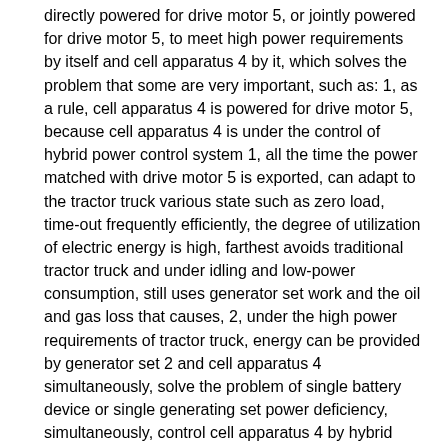directly powered for drive motor 5, or jointly powered for drive motor 5, to meet high power requirements by itself and cell apparatus 4 by it, which solves the problem that some are very important, such as: 1, as a rule, cell apparatus 4 is powered for drive motor 5, because cell apparatus 4 is under the control of hybrid power control system 1, all the time the power matched with drive motor 5 is exported, can adapt to the tractor truck various state such as zero load, time-out frequently efficiently, the degree of utilization of electric energy is high, farthest avoids traditional tractor truck and under idling and low-power consumption, still uses generator set work and the oil and gas loss that causes, 2, under the high power requirements of tractor truck, energy can be provided by generator set 2 and cell apparatus 4 simultaneously, solve the problem of single battery device or single generating set power deficiency, simultaneously, control cell apparatus 4 by hybrid power control system 1 and energy is provided, and control generator set 2 export rating horsepower under rated speed of rotation, make generator set 2 can always work in best oil and gas economic zone, improve the capacity usage ratio of generator set 2, it also